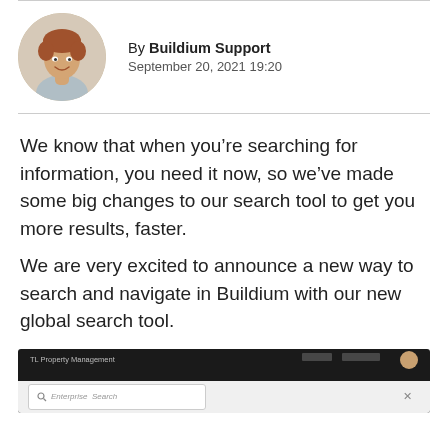[Figure (photo): Headshot of a smiling man with reddish-brown hair, wearing a light blue shirt]
By Buildium Support
September 20, 2021 19:20
We know that when you’re searching for information, you need it now, so we’ve made some big changes to our search tool to get you more results, faster.
We are very excited to announce a new way to search and navigate in Buildium with our new global search tool.
[Figure (screenshot): Screenshot of Buildium software interface showing a dark top bar and a search bar with text input, on a light background]